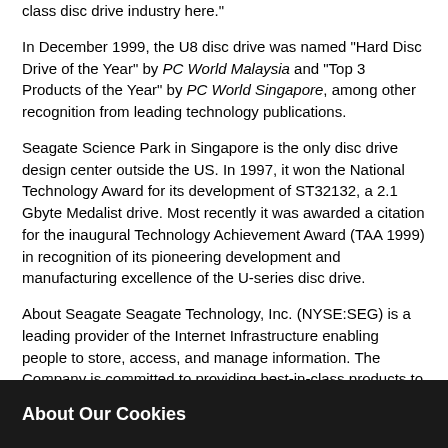class disc drive industry here."
In December 1999, the U8 disc drive was named "Hard Disc Drive of the Year" by PC World Malaysia and "Top 3 Products of the Year" by PC World Singapore, among other recognition from leading technology publications.
Seagate Science Park in Singapore is the only disc drive design center outside the US. In 1997, it won the National Technology Award for its development of ST32132, a 2.1 Gbyte Medalist drive. Most recently it was awarded a citation for the inaugural Technology Achievement Award (TAA 1999) in recognition of its pioneering development and manufacturing excellence of the U-series disc drive.
About Seagate Seagate Technology, Inc. (NYSE:SEG) is a leading provider of the Internet Infrastructure enabling people to store, access, and manage information. The Company is committed to providing best-in-class products to help people get information when, where and how they want it. Seagate is the world's largest manufacturer of disc drives, magnetic discs and read-write heads, an innovator in tape drives, Storage Area
About Our Cookies